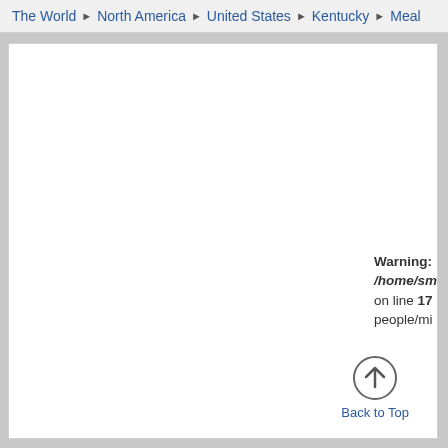The World ▸ North America ▸ United States ▸ Kentucky ▸ Meal...
Warning: /home/sm... on line 17 people/mi...
Back to Top